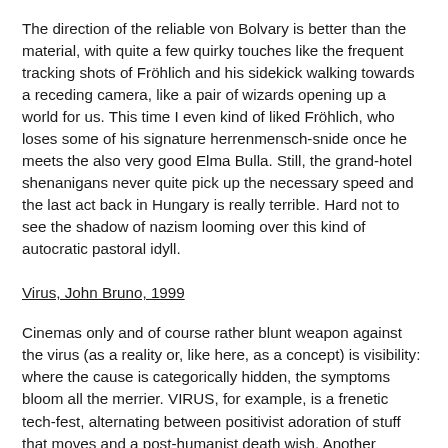The direction of the reliable von Bolvary is better than the material, with quite a few quirky touches like the frequent tracking shots of Fröhlich and his sidekick walking towards a receding camera, like a pair of wizards opening up a world for us. This time I even kind of liked Fröhlich, who loses some of his signature herrenmensch-snide once he meets the also very good Elma Bulla. Still, the grand-hotel shenanigans never quite pick up the necessary speed and the last act back in Hungary is really terrible. Hard not to see the shadow of nazism looming over this kind of autocratic pastoral idyll.
Virus, John Bruno, 1999
Cinemas only and of course rather blunt weapon against the virus (as a reality or, like here, as a concept) is visibility: where the cause is categorically hidden, the symptoms bloom all the merrier. VIRUS, for example, is a frenetic tech-fest, alternating between positivist adoration of stuff that moves and a post-humanist death wish. Another interesting, strictly technological schism: While the alien life-form floating through air in the beginning of the film is a jarringly artificial